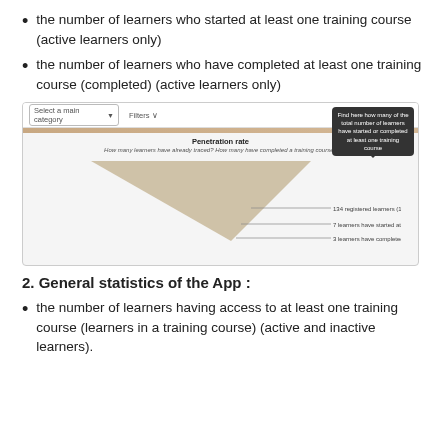the number of learners who started at least one training course (active learners only)
the number of learners who have completed at least one training course (completed) (active learners only)
[Figure (screenshot): Screenshot of a learning platform dashboard showing a penetration rate chart with a triangular funnel graphic. Tooltip reads: Find here how many of the total number of learners have started or completed at least one training course. Chart title: Penetration rate. Subtitle: How many learners have already traced? How many have completed a training course?]
2. General statistics of the App :
the number of learners having access to at least one training course (learners in a training course) (active and inactive learners).